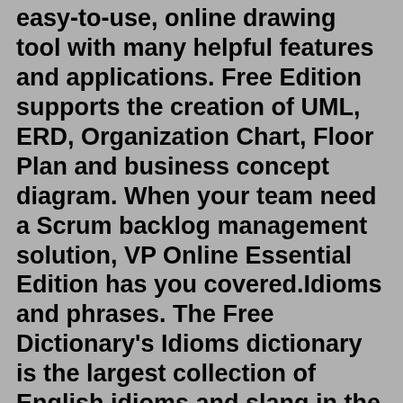easy-to-use, online drawing tool with many helpful features and applications. Free Edition supports the creation of UML, ERD, Organization Chart, Floor Plan and business concept diagram. When your team need a Scrum backlog management solution, VP Online Essential Edition has you covered.Idioms and phrases. The Free Dictionary's Idioms dictionary is the largest collection of English idioms and slang in the world. It contains more than 60,000 entries from several of the most trusted names in publishing. Search by keyword or full phrase to get clear, in-depth definitions of American idioms, British idioms, and idioms and slang ...Boulder Hockey Club COVID-19 Guidelines. Click on the document below to review all of the guidelines that the Sport Stable will be enforcing. Players and coaches must wear masks per city order. Symptom/temperature check will be required at check in for all participants/coaches. Parents/Chaperones may be permitted in the building according to ...DICK'S Sporting Goods Pittsburgh Penguins Elite Announce